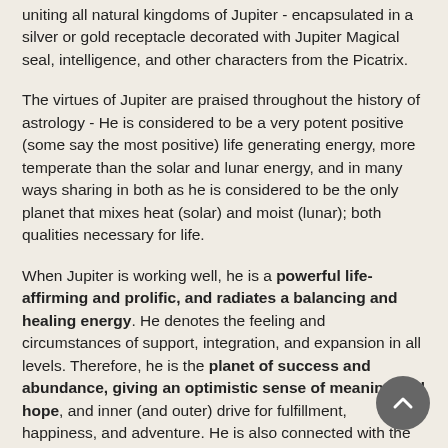uniting all natural kingdoms of Jupiter - encapsulated in a silver or gold receptacle decorated with Jupiter Magical seal, intelligence, and other characters from the Picatrix.
The virtues of Jupiter are praised throughout the history of astrology - He is considered to be a very potent positive (some say the most positive) life generating energy, more temperate than the solar and lunar energy, and in many ways sharing in both as he is considered to be the only planet that mixes heat (solar) and moist (lunar); both qualities necessary for life.
When Jupiter is working well, he is a powerful life-affirming and prolific, and radiates a balancing and healing energy. He denotes the feeling and circumstances of support, integration, and expansion in all levels. Therefore, he is the planet of success and abundance, giving an optimistic sense of meaning and hope, and inner (and outer) drive for fulfillment, happiness, and adventure. He is also connected with the